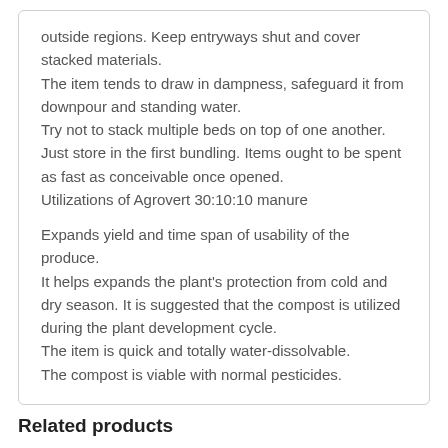outside regions. Keep entryways shut and cover stacked materials.
The item tends to draw in dampness, safeguard it from downpour and standing water.
Try not to stack multiple beds on top of one another. Just store in the first bundling. Items ought to be spent as fast as conceivable once opened.
Utilizations of Agrovert 30:10:10 manure

Expands yield and time span of usability of the produce.
It helps expands the plant's protection from cold and dry season. It is suggested that the compost is utilized during the plant development cycle.
The item is quick and totally water-dissolvable.
The compost is viable with normal pesticides.
Related products